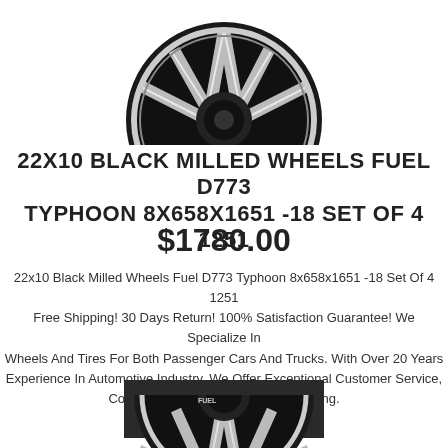[Figure (photo): Top portion of a black milled Fuel D773 Typhoon wheel, showing the spoke design with milled accents against a white background.]
22X10 BLACK MILLED WHEELS FUEL D773 TYPHOON 8X658X1651 -18 SET OF 4 1251 $1780.00
22x10 Black Milled Wheels Fuel D773 Typhoon 8x658x1651 -18 Set Of 4 1251 Free Shipping! 30 Days Return! 100% Satisfaction Guarantee! We Specialize In Wheels And Tires For Both Passenger Cars And Trucks. With Over 20 Years Experience In Automotive Industry, We Offer Exceptional Customer Service, Competitive Price And Prompt Shipping.
[Figure (other): BUY NOW button - dark grey/black rectangular button with white text]
[Figure (photo): Bottom portion of a black milled Fuel wheel visible at the bottom of the page, showing the spoke and hub area.]